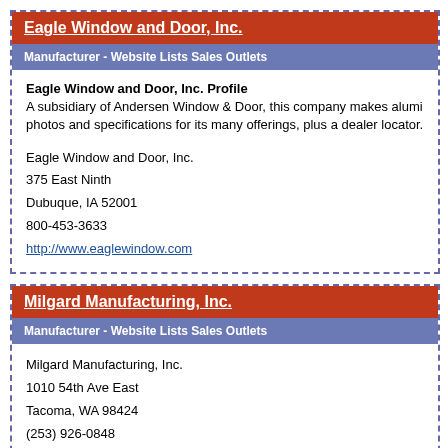Eagle Window and Door, Inc.
Manufacturer - Website Lists Sales Outlets
Eagle Window and Door, Inc. Profile
A subsidiary of Andersen Window & Door, this company makes alumi photos and specifications for its many offerings, plus a dealer locator.
Eagle Window and Door, Inc.
375 East Ninth
Dubuque, IA 52001
800-453-3633
http://www.eaglewindow.com
Milgard Manufacturing, Inc.
Manufacturer - Website Lists Sales Outlets
Milgard Manufacturing, Inc.
1010 54th Ave East
Tacoma, WA 98424
(253) 926-0848
http://www.milgard.com
Pease Industries
Manufacturer - Sells Direct Through Website